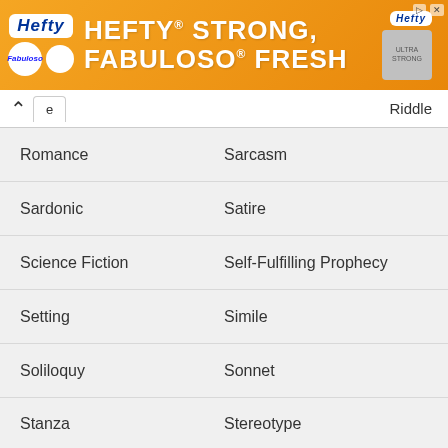[Figure (infographic): Hefty brand advertisement banner with orange background. Text reads 'HEFTY STRONG, FABULOSO FRESH' with Hefty and Fabuloso logos.]
e | Riddle
Romance | Sarcasm
Sardonic | Satire
Science Fiction | Self-Fulfilling Prophecy
Setting | Simile
Soliloquy | Sonnet
Stanza | Stereotype